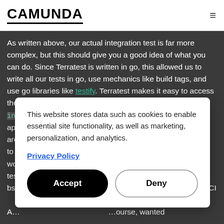CAMUNDA
As written above, our actual integration test is far more complex, but this should give you a good idea of what you can do. Since Terratest is written in go, this allowed us to write all our tests in go, use mechanics like build tags, and use go libraries like testify. Terratest makes it easy to access the Kubernetes API, run Helm commands like `helm install` and you can also use the testify. We really appreciate the work that has gone into it. Go test packages are also pretty useful for organizing your tests, which helps to detect flakes too. If you need to run integration tests, we would recommend trying Terratest for your test coding and testing infrastructure. You can also keep a separate abstraction layer for Kubernetes API. You can have with the CI
This website stores data such as cookies to enable essential site functionality, as well as marketing, personalization, and analytics.
Privacy Policy
Accept
Deny
A... of course, wanted to automate them. We did that with GitLab Actions (or...